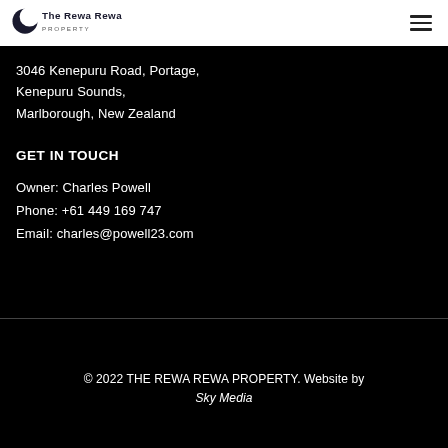[Figure (logo): The Rewa Rewa Property logo - crescent moon shape with company name]
3046 Kenepuru Road, Portage,
Kenepuru Sounds,
Marlborough, New Zealand
GET IN TOUCH
Owner: Charles Powell
Phone: +61 449 169 747
Email: charles@powell23.com
© 2022 THE REWA REWA PROPERTY. Website by Sky Media